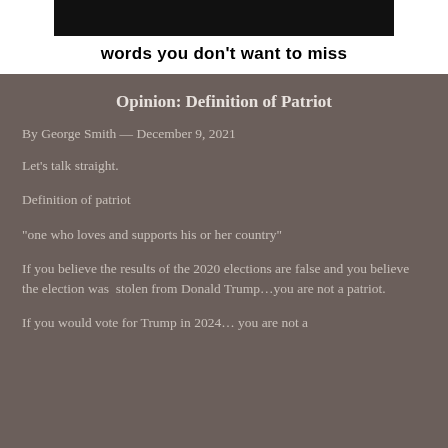[Figure (other): Banner with dark image at top and tagline 'words you don't want to miss' on white background]
Opinion: Definition of Patriot
By George Smith  — December 9, 2021
Let's talk straight.
Definition of patriot
“one who loves and supports his or her country”
If you believe the results of the 2020 elections are false and you believe the election was  stolen from Donald Trump…you are not a patriot.
If you would vote for Trump in 2024… you are not a